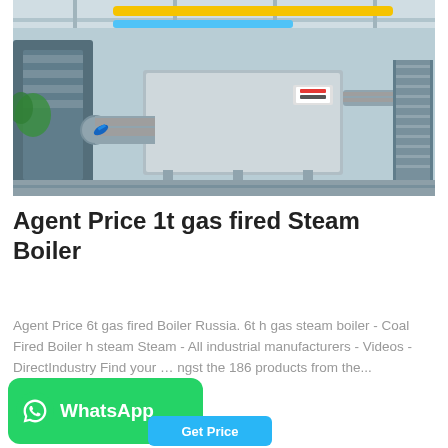[Figure (photo): Industrial boiler facility photo showing a large gas-fired steam boiler with insulated pipes and valves in a factory setting. Yellow gas pipes visible overhead, metal staircase on right side.]
Agent Price 1t gas fired Steam Boiler
Agent Price 6t gas fired Boiler Russia. 6t h gas steam boiler - Coal Fired Boiler h steam Steam - All industrial manufacturers - Videos - DirectIndustry Find your ... amongst the 186 products from the...